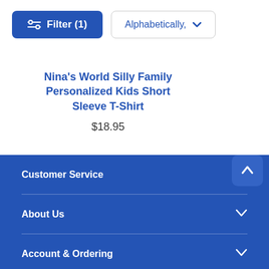Filter (1)
Alphabetically, ∨
Nina's World Silly Family Personalized Kids Short Sleeve T-Shirt
$18.95
Customer Service
About Us
Account & Ordering